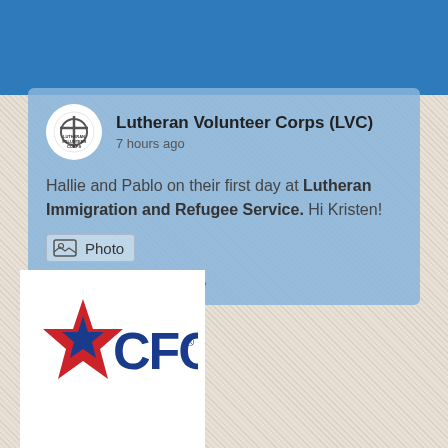[Figure (screenshot): Facebook post from Lutheran Volunteer Corps (LVC) showing 'Hallie and Pablo on their first day at Lutheran Immigration and Refugee Service. Hi Kristen!' with a Photo attachment link and View on Facebook / Share actions.]
[Figure (logo): CFC (Combined Federal Campaign) logo with red star and blue text]